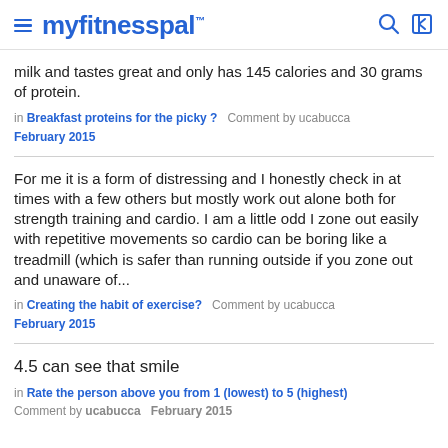myfitnesspal
milk and tastes great and only has 145 calories and 30 grams of protein.
in Breakfast proteins for the picky ?  Comment by ucabucca
February 2015
For me it is a form of distressing and I honestly check in at times with a few others but mostly work out alone both for strength training and cardio. I am a little odd I zone out easily with repetitive movements so cardio can be boring like a treadmill (which is safer than running outside if you zone out and unaware of...
in Creating the habit of exercise?  Comment by ucabucca
February 2015
4.5 can see that smile
in Rate the person above you from 1 (lowest) to 5 (highest)
Comment by ucabucca   February 2015